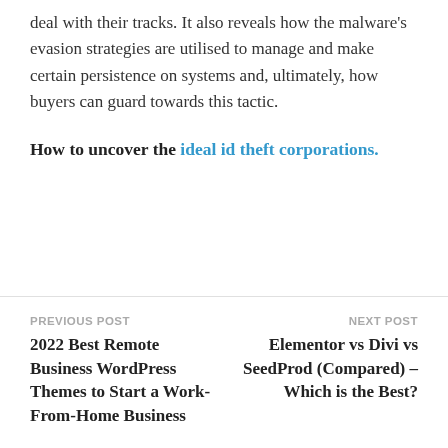deal with their tracks. It also reveals how the malware's evasion strategies are utilised to manage and make certain persistence on systems and, ultimately, how buyers can guard towards this tactic.
How to uncover the ideal id theft corporations.
PREVIOUS POST
2022 Best Remote Business WordPress Themes to Start a Work-From-Home Business
NEXT POST
Elementor vs Divi vs SeedProd (Compared) – Which is the Best?